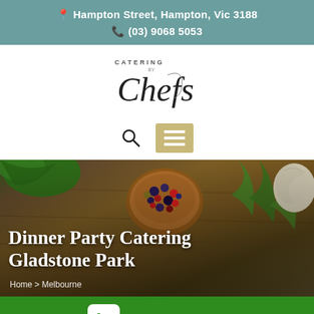📍 Hampton Street, Hampton, Vic 3188
📞 (03) 9068 5053
[Figure (logo): Catering by Chefs logo with cursive script]
[Figure (infographic): Search icon and hamburger menu icon on white background]
[Figure (photo): Hero image of spices, herbs, garlic and berries on a wooden surface]
Dinner Party Catering Gladstone Park
Home > Melbourne
CALL NOW